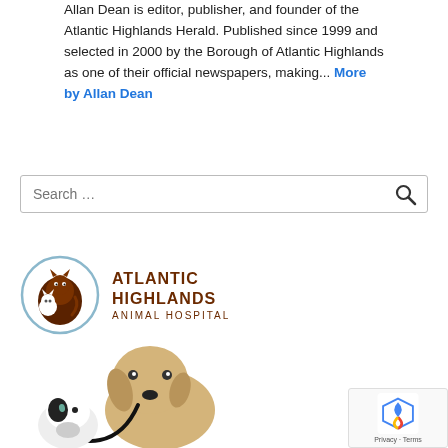Allan Dean is editor, publisher, and founder of the Atlantic Highlands Herald. Published since 1999 and selected in 2000 by the Borough of Atlantic Highlands as one of their official newspapers, making... More by Allan Dean
[Figure (other): Search bar with magnifying glass icon]
[Figure (logo): Atlantic Highlands Animal Hospital logo with circular icon showing cartoon animals and brown text]
[Figure (photo): Photo of a cat and dog with a stethoscope]
[Figure (other): reCAPTCHA badge with Privacy and Terms links]